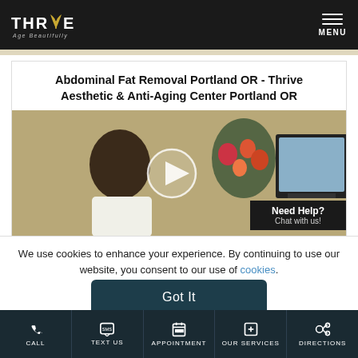THRIVE Age Beautifully — MENU
Abdominal Fat Removal Portland OR - Thrive Aesthetic & Anti-Aging Center Portland OR
[Figure (photo): Video thumbnail showing a man in a white coat looking at a computer screen with flowers in the background and a play button overlay. A 'Need Help? Chat with us!' popup is visible in the bottom right.]
We use cookies to enhance your experience. By continuing to use our website, you consent to our use of cookies.
Got It
CALL  TEXT US  APPOINTMENT  OUR SERVICES  DIRECTIONS